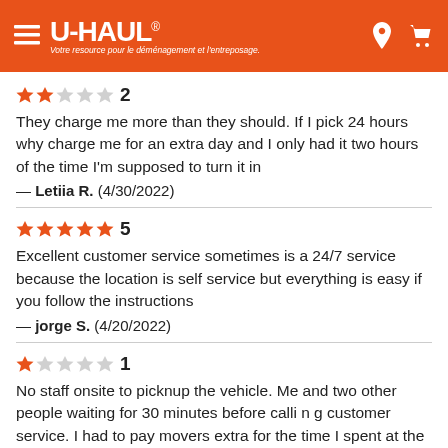U-HAUL — Votre resource pour le déménagement et l'entreposage.
★★☆☆☆ 2
They charge me more than they should. If I pick 24 hours why charge me for an extra day and I only had it two hours of the time I'm supposed to turn it in
— Letiia R.  (4/30/2022)
★★★★★ 5
Excellent customer service sometimes is a 24/7 service because the location is self service but everything is easy if you follow the instructions
— jorge S.  (4/20/2022)
★☆☆☆☆ 1
No staff onsite to picknup the vehicle. Me and two other people waiting for 30 minutes before calli n g customer service. I had to pay movers extra for the time I spent at the location.